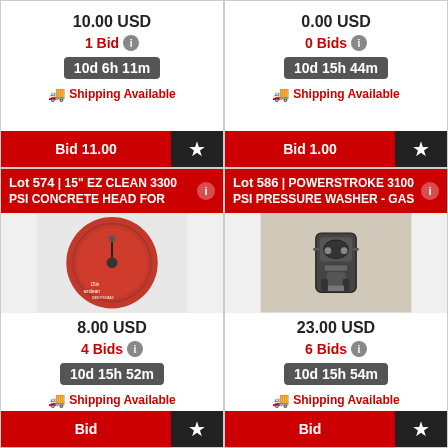10.00 USD
1 Bid
10d 6h 11m
Shipping Available
Bid 11.00
0.00 USD
0 Bids
10d 15h 44m
Shipping Available
Bid 1.00
Lot 574 | 15" EZ CLEAN 3300 PSI CONCRETE HEAD FOR
[Figure (photo): Red circular EZ Clean 3300 PSI concrete head attachment for pressure washer]
8.00 USD
4 Bids
10d 15h 52m
Shipping Available
Lot 586 | POWERSTROKE 3100 PSI PRESSURE WASHER - GAS
[Figure (photo): Gas powered Powerstroke 3100 PSI pressure washer, viewed from above]
23.00 USD
6 Bids
10d 15h 54m
Shipping Available